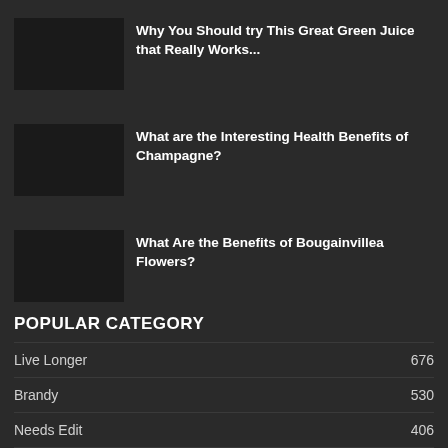Why You Should try This Great Green Juice that Really Works...
What are the Interesting Health Benefits of Champagne?
What Are the Benefits of Bougainvillea Flowers?
POPULAR CATEGORY
Live Longer 676
Brandy 530
Needs Edit 406